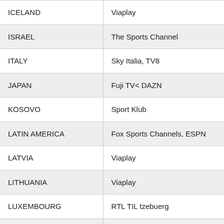| Country | Broadcaster |
| --- | --- |
| ICELAND | Viaplay |
| ISRAEL | The Sports Channel |
| ITALY | Sky Italia, TV8 |
| JAPAN | Fuji TV< DAZN |
| KOSOVO | Sport Klub |
| LATIN AMERICA | Fox Sports Channels, ESPN |
| LATVIA | Viaplay |
| LITHUANIA | Viaplay |
| LUXEMBOURG | RTL TIL tzebuerg |
| MACEDONIA | Sport Klub |
| MALTA | Go Sports |